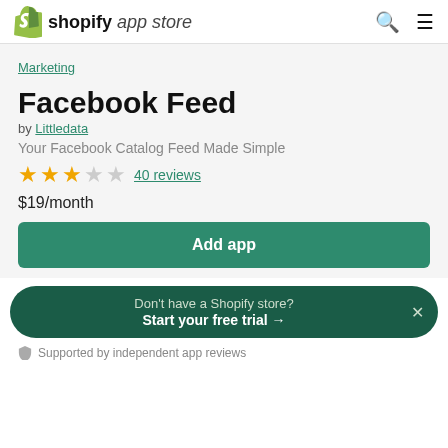shopify app store
Marketing
Facebook Feed
by Littledata
Your Facebook Catalog Feed Made Simple
★★★☆☆  40 reviews
$19/month
Add app
Don't have a Shopify store? Start your free trial →